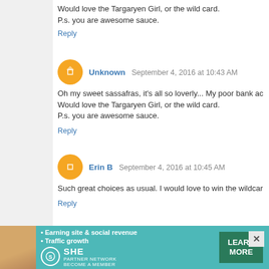Would love the Targaryen Girl, or the wild card.
P.s. you are awesome sauce.
Reply
Unknown  September 4, 2016 at 10:43 AM
Oh my sweet sassafras, it's all so loverly... My poor bank ac...
Would love the Targaryen Girl, or the wild card.
P.s. you are awesome sauce.
Reply
Erin B  September 4, 2016 at 10:45 AM
Such great choices as usual. I would love to win the wildcar...
Reply
Soyana  September 4, 2016 at 10:50 AM
I just love Casey Robin's watercolor style, how gorgeous! A...
my kitchen...
Dogtor Who has me chortling, dinosaur coloring boo...
also beautiful watercolors, and I may need to add an...
[Figure (infographic): Advertisement banner for SHE Partner Network. Teal background with woman photo, bullet points about earning site & social revenue and traffic growth, SHE logo, and LEARN MORE button.]